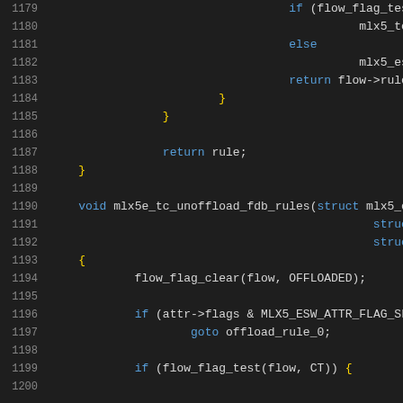Source code listing lines 1179-1200, C programming language kernel/driver code showing mlx5e tc unoffload fdb rules function